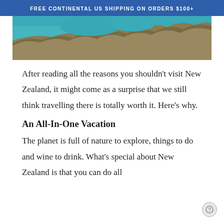FREE CONTINENTAL US SHIPPING ON ORDERS $100+
[Figure (photo): Aerial or close view of turquoise blue water with rocky terrain/boulders]
After reading all the reasons you shouldn't visit New Zealand, it might come as a surprise that we still think travelling there is totally worth it. Here's why.
An All-In-One Vacation
The planet is full of nature to explore, things to do and wine to drink. What's special about New Zealand is that you can do all